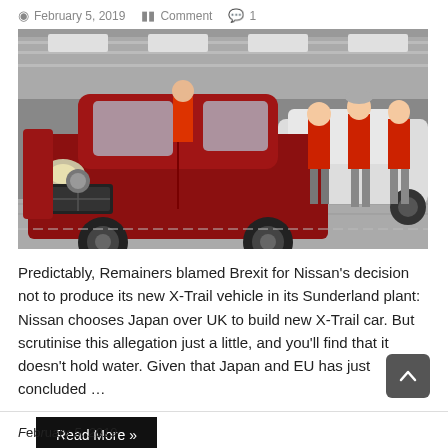February 5, 2019   Comment   1
[Figure (photo): Workers in red uniforms assembling cars on a Nissan factory production line, with a red SUV (Nissan Qashqai) prominently in the foreground]
Predictably, Remainers blamed Brexit for Nissan's decision not to produce its new X-Trail vehicle in its Sunderland plant: Nissan chooses Japan over UK to build new X-Trail car. But scrutinise this allegation just a little, and you'll find that it doesn't hold water. Given that Japan and EU has just concluded …
Read More »
^